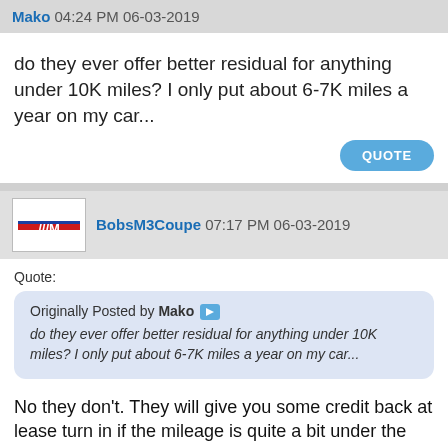Mako 04:24 PM 06-03-2019
do they ever offer better residual for anything under 10K miles? I only put about 6-7K miles a year on my car...
QUOTE
BobsM3Coupe 07:17 PM 06-03-2019
Quote:
Originally Posted by Mako ➤ do they ever offer better residual for anything under 10K miles? I only put about 6-7K miles a year on my car...
No they don't. They will give you some credit back at lease turn in if the mileage is quite a bit under the lease agreement.
QUOTE